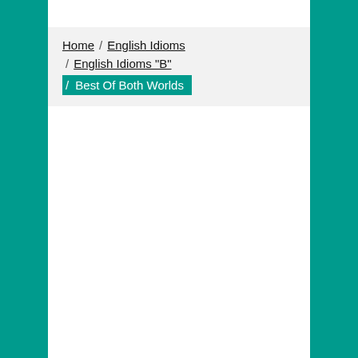Home / English Idioms / English Idioms "B" / Best Of Both Worlds